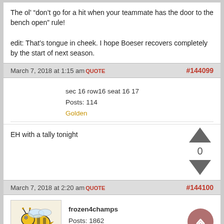The ol' “don’t go for a hit when your teammate has the door to the bench open” rule!

edit: That’s tongue in cheek. I hope Boeser recovers completely by the start of next season.
March 7, 2018 at 1:15 am QUOTE #144099
sec 16 row16 seat 16 17
Posts: 114
Golden
EH with a tally tonight
March 7, 2018 at 2:20 am QUOTE #144100
frozen4champs
Posts: 1862
Golden